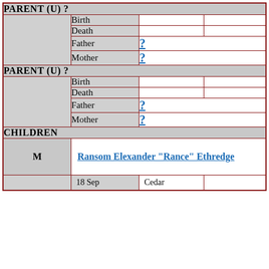| PARENT (U) ? |  |  |  |
|  | Birth |  |  |
|  | Death |  |  |
|  | Father | ? |  |
|  | Mother | ? |  |
| PARENT (U) ? |  |  |  |
|  | Birth |  |  |
|  | Death |  |  |
|  | Father | ? |  |
|  | Mother | ? |  |
| CHILDREN |  |  |  |
| M | Ransom Elexander "Rance" Ethredge |  |  |
|  | 18 Sep | Cedar |  |